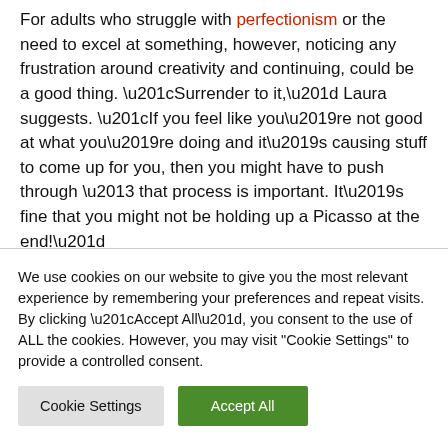For adults who struggle with perfectionism or the need to excel at something, however, noticing any frustration around creativity and continuing, could be a good thing. “Surrender to it,” Laura suggests. “If you feel like you’re not good at what you’re doing and it’s causing stuff to come up for you, then you might have to push through – that process is important. It’s fine that you might not be holding up a Picasso at the end!”
We use cookies on our website to give you the most relevant experience by remembering your preferences and repeat visits. By clicking “Accept All”, you consent to the use of ALL the cookies. However, you may visit "Cookie Settings" to provide a controlled consent.